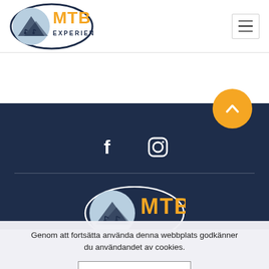[Figure (logo): MTB Experience logo: circular badge with mountain bikers silhouette and 'MTB EXPERIENCE' text in orange and dark blue]
[Figure (other): Hamburger menu icon (three horizontal lines) in a bordered square]
[Figure (other): Orange circular scroll-to-top button with upward chevron arrow]
[Figure (other): Dark navy footer section with Facebook and Instagram social icons, a horizontal divider, and MTB logo]
Genom att fortsätta använda denna webbplats godkänner du användandet av cookies.
[Figure (other): Acceptera button (cookie accept button)]